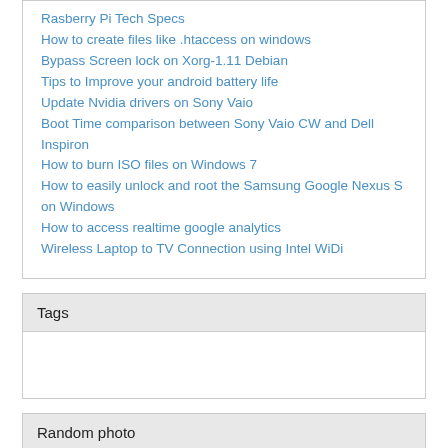Rasberry Pi Tech Specs
How to create files like .htaccess on windows
Bypass Screen lock on Xorg-1.11 Debian
Tips to Improve your android battery life
Update Nvidia drivers on Sony Vaio
Boot Time comparison between Sony Vaio CW and Dell Inspiron
How to burn ISO files on Windows 7
How to easily unlock and root the Samsung Google Nexus S on Windows
How to access realtime google analytics
Wireless Laptop to TV Connection using Intel WiDi
Tags
Random photo
[Figure (photo): Two small thumbnail photos of outdoor/nature scenes]